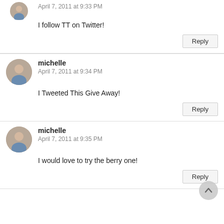April 7, 2011 at 9:33 PM
I follow TT on Twitter!
michelle
April 7, 2011 at 9:34 PM
I Tweeted This Give Away!
michelle
April 7, 2011 at 9:35 PM
I would love to try the berry one!